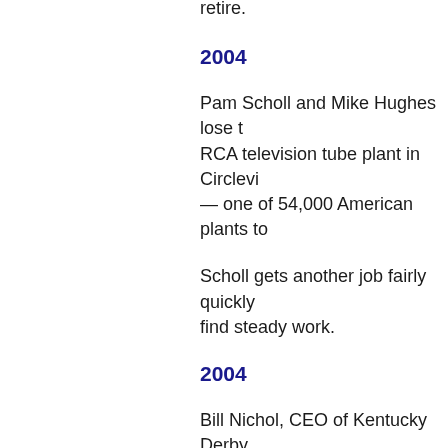retire.
2004
Pam Scholl and Mike Hughes lose their jobs at the RCA television tube plant in Circleville, Ohio — one of 54,000 American plants to...
Scholl gets another job fairly quickly but Hughes can't find steady work.
2004
Bill Nichol, CEO of Kentucky Derby... Wal-Mart executives telling their suppliers to move low-cost production in China, says he is moving some of his company there.
Wal-Mart gets 80% of its products from Chinese production, much of it from U.S. companies moving to China.
2004-05